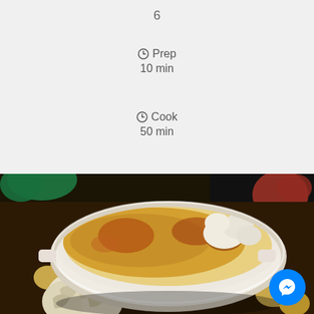6
Prep 10 min
Cook 50 min
[Figure (photo): Baked potato and cauliflower gratin dish in a white casserole bowl, surrounded by garlic bulbs and small potatoes on a dark background. A Messenger chat button is visible in the bottom right corner.]